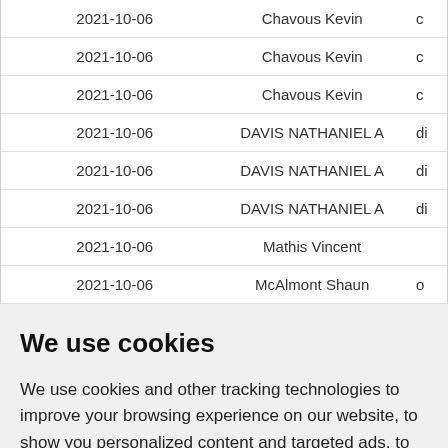| Date | Name |  |
| --- | --- | --- |
| 2021-10-06 | Chavous Kevin | c |
| 2021-10-06 | Chavous Kevin | c |
| 2021-10-06 | Chavous Kevin | c |
| 2021-10-06 | DAVIS NATHANIEL A | di |
| 2021-10-06 | DAVIS NATHANIEL A | di |
| 2021-10-06 | DAVIS NATHANIEL A | di |
| 2021-10-06 | Mathis Vincent |  |
| 2021-10-06 | McAlmont Shaun | o |
We use cookies
We use cookies and other tracking technologies to improve your browsing experience on our website, to show you personalized content and targeted ads, to analyze our website traffic, and